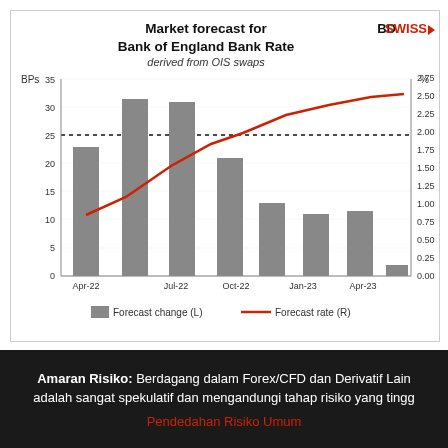[Figure (grouped-bar-chart): Market forecast for Bank of England Bank Rate]
Amaran Risiko: Berdagang dalam Forex/CFD dan Derivatif Lain adalah sangat spekulatif dan mengandungi tahap risiko yang tingg
Pendedahan Risiko Umum